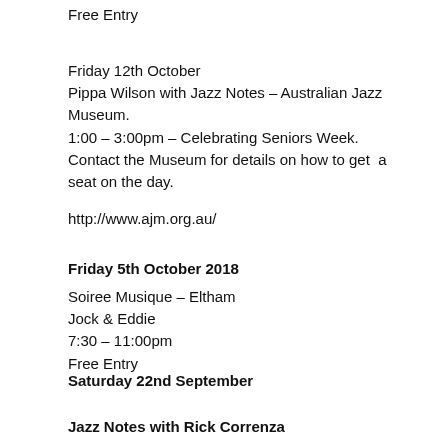Free Entry
Friday 12th October
Pippa Wilson with Jazz Notes – Australian Jazz Museum.
1:00 – 3:00pm – Celebrating Seniors Week.
Contact the Museum for details on how to get a seat on the day.
http://www.ajm.org.au/
Friday 5th October 2018
Soiree Musique – Eltham
Jock & Eddie
7:30 – 11:00pm
Free Entry
Saturday 22nd September
Jazz Notes with Rick Correnza